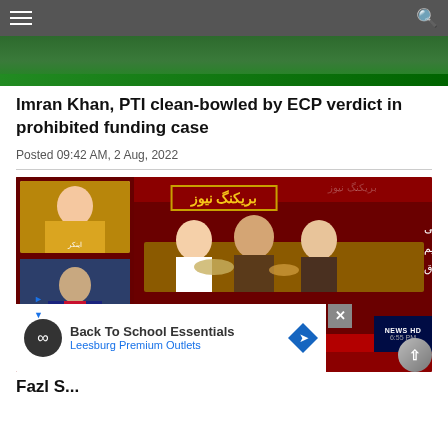Navigation bar with menu and search icons
[Figure (photo): Partial top image showing green background/banner]
Imran Khan, PTI clean-bowled by ECP verdict in prohibited funding case
Posted 09:42 AM, 2 Aug, 2022
[Figure (screenshot): Breaking news TV screenshot showing Urdu text about Maulana Fazlur Rahman going to Supreme Court with JUI-F leadership, with ad overlay for Back To School Essentials at Leesburg Premium Outlets]
Fazl S...